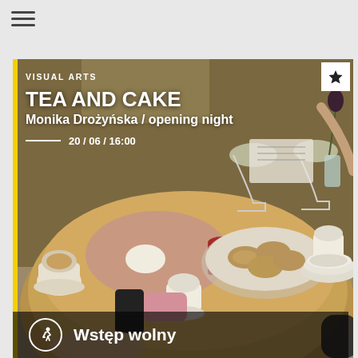[Figure (other): Hamburger/menu icon (three horizontal lines) in top-left of page]
[Figure (photo): Photograph of a round wooden table with tea cups, cakes, pastries, and assorted dishes arranged on it, with people's hands visible around the table. The event is TEA AND CAKE by Monika Drożyńska, an opening night. The image has a yellow left-edge stripe and overlaid white text with event details. A star/bookmark icon appears in the top-right corner of the image. The bottom of the image has a dark translucent bar with a running-person icon and the text 'Wstęp wolny'.]
VISUAL ARTS
TEA AND CAKE
Monika Drożyńska / opening night
20 / 06 / 16:00
Wstęp wolny